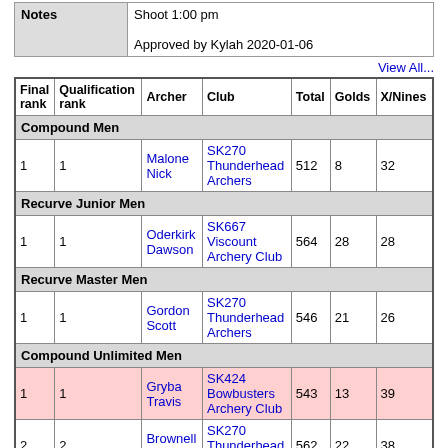| Notes |  |
| --- | --- |
| Notes | Shoot 1:00 pm
Approved by Kylah 2020-01-06 |
View All...
| Final rank | Qualification rank | Archer | Club | Total | Golds | X/Nines |
| --- | --- | --- | --- | --- | --- | --- |
| Compound Men |  |  |  |  |  |  |
| 1 | 1 | Malone Nick | SK270 Thunderhead Archers | 512 | 8 | 32 |
| Recurve Junior Men |  |  |  |  |  |  |
| 1 | 1 | Oderkirk Dawson | SK667 Viscount Archery Club | 564 | 28 | 28 |
| Recurve Master Men |  |  |  |  |  |  |
| 1 | 1 | Gordon Scott | SK270 Thunderhead Archers | 546 | 21 | 26 |
| Compound Unlimited Men |  |  |  |  |  |  |
| 1 | 1 | Gryba Travis | SK424 Bowbusters Archery Club | 543 | 13 | 39 |
| 2 | 2 | Brownell Cole | SK270 Thunderhead Archers | 562 | 22 | 38 |